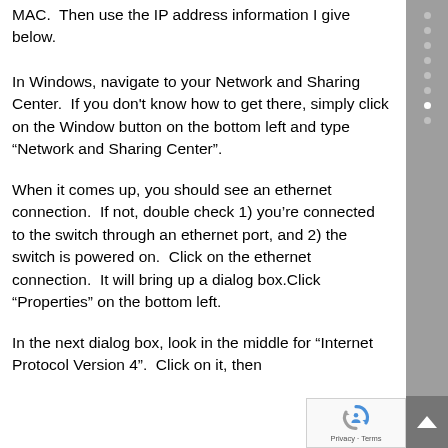MAC.  Then use the IP address information I give below.
In Windows, navigate to your Network and Sharing Center.  If you don't know how to get there, simply click on the Window button on the bottom left and type “Network and Sharing Center”.
When it comes up, you should see an ethernet connection.  If not, double check 1) you’re connected to the switch through an ethernet port, and 2) the switch is powered on.  Click on the ethernet connection.  It will bring up a dialog box.Click “Properties” on the bottom left.
In the next dialog box, look in the middle for “Internet Protocol Version 4”.  Click on it, then